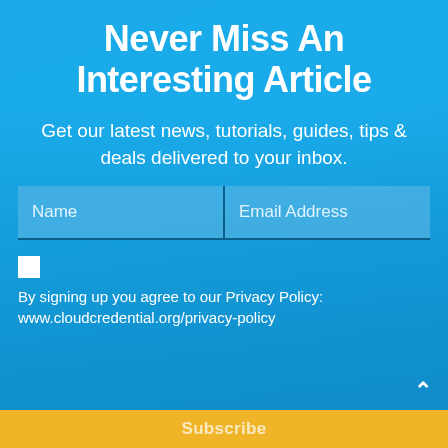Never Miss An Interesting Article
Get our latest news, tutorials, guides, tips & deals delivered to your inbox.
Name | Email Address (form fields)
By signing up you agree to our Privacy Policy: www.cloudcredential.org/privacy-policy